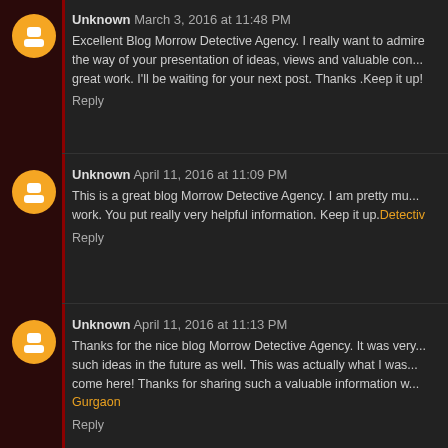Unknown March 3, 2016 at 11:48 PM — Excellent Blog Morrow Detective Agency. I really want to admire the way of your presentation of ideas, views and valuable content. great work. I'll be waiting for your next post. Thanks .Keep it up! — Reply
Unknown April 11, 2016 at 11:09 PM — This is a great blog Morrow Detective Agency. I am pretty much pleased with your good work. You put really very helpful information. Keep it up. — Reply
Unknown April 11, 2016 at 11:13 PM — Thanks for the nice blog Morrow Detective Agency. It was very helpful for us. Keep sharing such ideas in the future as well. This was actually what I was looking for, and I am glad to come here! Thanks for sharing such a valuable information with us. Detective Agency in Gurgaon — Reply